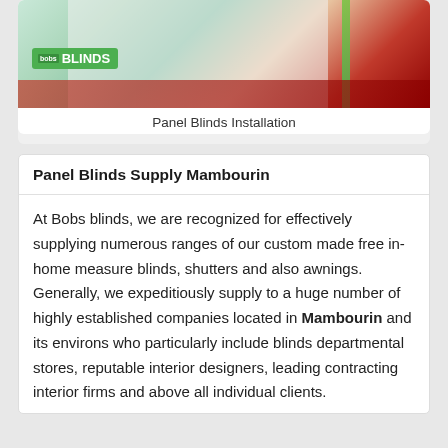[Figure (photo): Photo of panel blinds installation in a room with green logo overlay reading BLINDS]
Panel Blinds Installation
Panel Blinds Supply Mambourin
At Bobs blinds, we are recognized for effectively supplying numerous ranges of our custom made free in-home measure blinds, shutters and also awnings. Generally, we expeditiously supply to a huge number of highly established companies located in Mambourin and its environs who particularly include blinds departmental stores, reputable interior designers, leading contracting interior firms and above all individual clients.